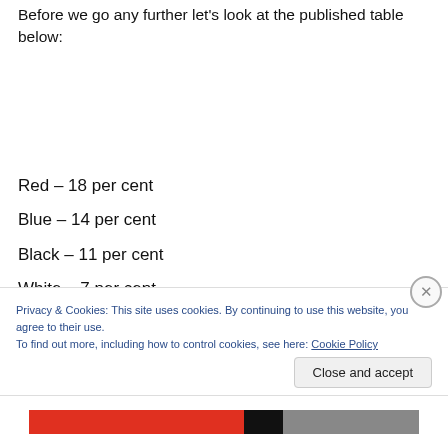Before we go any further let's look at the published table below:
Red – 18 per cent
Blue – 14 per cent
Black – 11 per cent
White – 7 per cent
Grey/Silver- 3 per cent
Privacy & Cookies: This site uses cookies. By continuing to use this website, you agree to their use. To find out more, including how to control cookies, see here: Cookie Policy
Close and accept